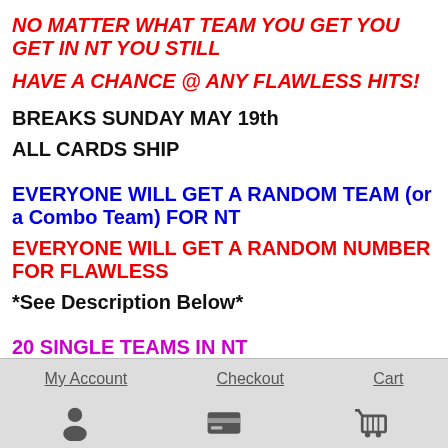NO MATTER WHAT TEAM YOU GET YOU GET IN NT YOU STILL
HAVE A CHANCE @ ANY FLAWLESS HITS!
BREAKS SUNDAY MAY 19th
ALL CARDS SHIP
EVERYONE WILL GET A RANDOM TEAM (or a Combo Team) FOR NT
EVERYONE WILL GET A RANDOM NUMBER FOR FLAWLESS
*See Description Below*
20 SINGLE TEAMS IN NT
5 COMBO TEAM SPOTS ARE:
Rays/Pirates
Tigers/Mariners
My Account   Checkout   Cart